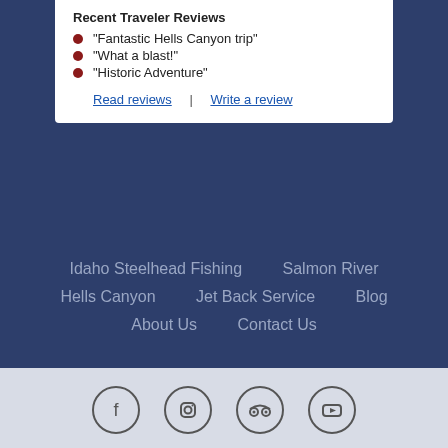Recent Traveler Reviews
“Fantastic Hells Canyon trip”
“What a blast!”
“Historic Adventure”
Read reviews | Write a review
Idaho Steelhead Fishing
Salmon River
Hells Canyon
Jet Back Service
Blog
About Us
Contact Us
[Figure (other): Social media icons: Facebook, Instagram, TripAdvisor, YouTube]
© Idaho Fishing & Jet Boat Tours, River Adventures Inc.